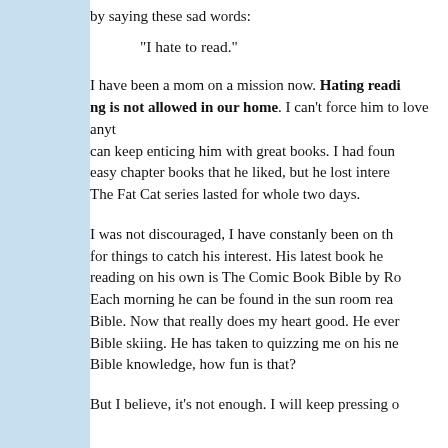by saying these sad words:
"I hate to read."
I have been a mom on a mission now. Hating reading is not allowed in our home. I can't force him to love anything, but I can keep enticing him with great books. I had found some easy chapter books that he liked, but he lost interest quickly. The Fat Cat series lasted for whole two days.
I was not discouraged, I have constanly been on the lookout for things to catch his interest. His latest book he has been reading on his own is The Comic Book Bible by Ro... Each morning he can be found in the sun room reading his Bible. Now that really does my heart good. He even took his Bible skiing. He has taken to quizzing me on his new found Bible knowledge, how fun is that?
But I believe, it's not enough. I will keep pressing on...